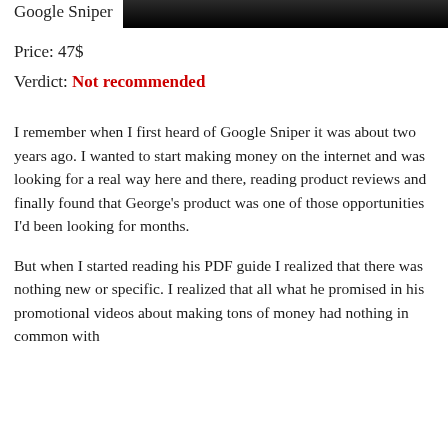Google Sniper
Price: 47$
Verdict: Not recommended
I remember when I first heard of Google Sniper it was about two years ago. I wanted to start making money on the internet and was looking for a real way here and there, reading product reviews and finally found that George's product was one of those opportunities I'd been looking for months.
But when I started reading his PDF guide I realized that there was nothing new or specific. I realized that all what he promised in his promotional videos about making tons of money had nothing in common with